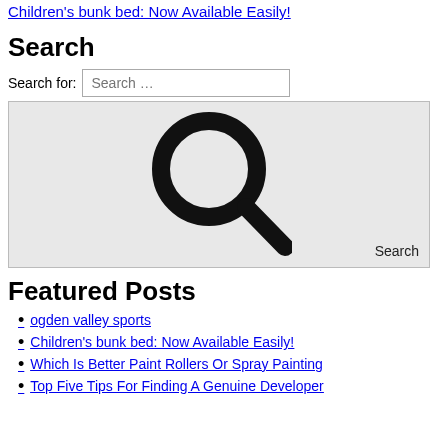Children's bunk bed: Now Available Easily!
Search
Search for: Search …
[Figure (screenshot): Search widget with large magnifying glass icon and Search button, gray background]
Featured Posts
ogden valley sports
Children's bunk bed: Now Available Easily!
Which Is Better Paint Rollers Or Spray Painting
Top Five Tips For Finding A Genuine Developer